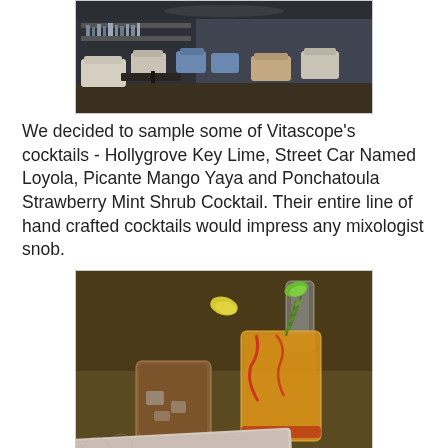[Figure (photo): Interior of Vitascope bar/lounge with white upholstered seating, blue chairs, and dark wood floors]
We decided to sample some of Vitascope's cocktails - Hollygrove Key Lime, Street Car Named Loyola, Picante Mango Yaya and Ponchatoula Strawberry Mint Shrub Cocktail. Their entire line of hand crafted cocktails would impress any mixologist snob.
[Figure (photo): Three cocktail drinks on a bar surface with a Vitascope menu/book visible in the foreground]